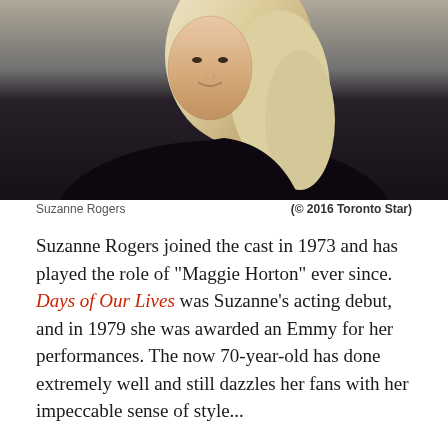[Figure (photo): Portrait photo of Suzanne Rogers, a blonde woman wearing a black turtleneck sweater, smiling, with shelves/desks visible in the background.]
Suzanne Rogers	(© 2016 Toronto Star)
Suzanne Rogers joined the cast in 1973 and has played the role of "Maggie Horton" ever since. Days of Our Lives was Suzanne's acting debut, and in 1979 she was awarded an Emmy for her performances. The now 70-year-old has done extremely well and still dazzles her fans with her impeccable sense of style...